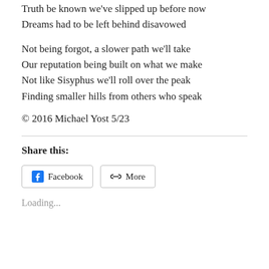Truth be known we've slipped up before now
Dreams had to be left behind disavowed
Not being forgot, a slower path we'll take
Our reputation being built on what we make
Not like Sisyphus we'll roll over the peak
Finding smaller hills from others who speak
© 2016 Michael Yost 5/23
Share this:
Facebook  More
Loading...